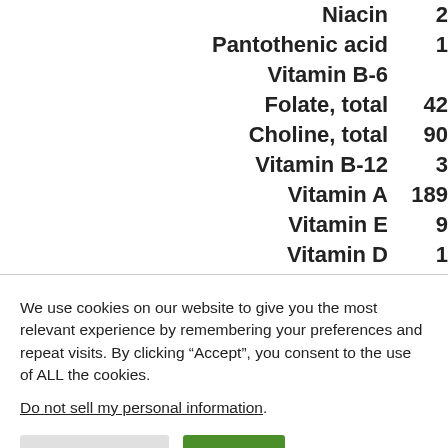| Nutrient | Value |
| --- | --- |
| Niacin | 2 |
| Pantothenic acid | 1 |
| Vitamin B-6 |  |
| Folate, total | 42 |
| Choline, total | 90 |
| Vitamin B-12 | 3 |
| Vitamin A | 189 |
| Vitamin E | 9 |
| Vitamin D | 1 |
We use cookies on our website to give you the most relevant experience by remembering your preferences and repeat visits. By clicking “Accept”, you consent to the use of ALL the cookies.
Do not sell my personal information.